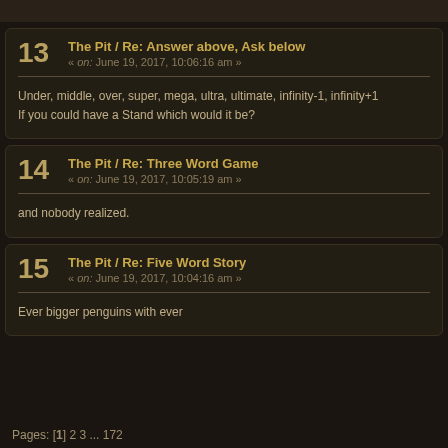13  The Pit / Re: Answer above, Ask below
« on: June 19, 2017, 10:06:16 am »
Under, middle, over, super, mega, ultra, ultimate, infinity-1, infinity+1
If you could have a Stand which would it be?
14  The Pit / Re: Three Word Game
« on: June 19, 2017, 10:05:19 am »
and nobody realized.
15  The Pit / Re: Five Word Story
« on: June 19, 2017, 10:04:16 am »
Ever bigger penguins with ever
Pages: [1] 2 3 ... 172